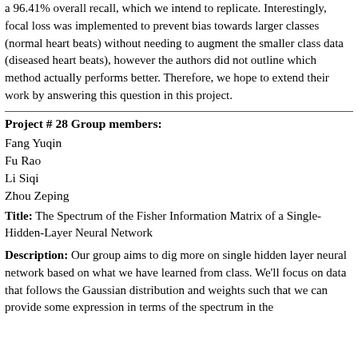a 96.41% overall recall, which we intend to replicate. Interestingly, focal loss was implemented to prevent bias towards larger classes (normal heart beats) without needing to augment the smaller class data (diseased heart beats), however the authors did not outline which method actually performs better. Therefore, we hope to extend their work by answering this question in this project.
Project # 28 Group members:
Fang Yuqin
Fu Rao
Li Siqi
Zhou Zeping
Title: The Spectrum of the Fisher Information Matrix of a Single-Hidden-Layer Neural Network
Description: Our group aims to dig more on single hidden layer neural network based on what we have learned from class. We'll focus on data that follows the Gaussian distribution and weights such that we can provide some expression in terms of the spectrum in the